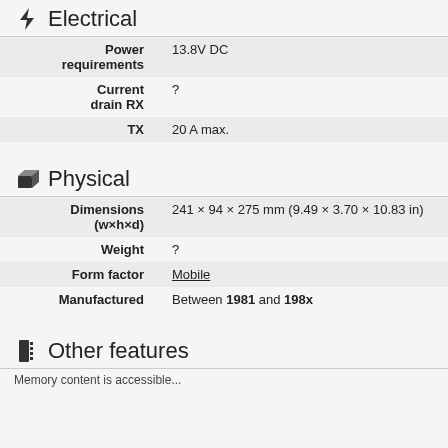Electrical
| Property | Value |
| --- | --- |
| Power requirements | 13.8V DC |
| Current drain RX | ? |
| TX | 20 A max. |
Physical
| Property | Value |
| --- | --- |
| Dimensions (w×h×d) | 241 × 94 × 275 mm (9.49 × 3.70 × 10.83 in) |
| Weight | ? |
| Form factor | Mobile |
| Manufactured | Between 1981 and 198x |
Other features
Memory content is accessible...